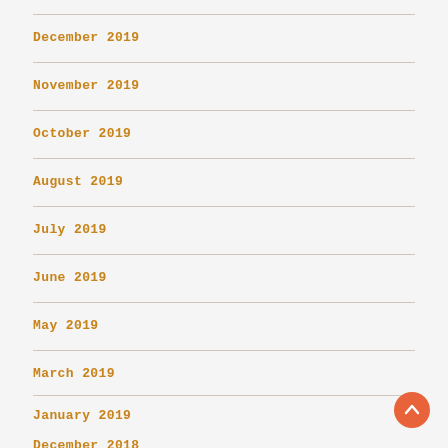December 2019
November 2019
October 2019
August 2019
July 2019
June 2019
May 2019
March 2019
January 2019
December 2018